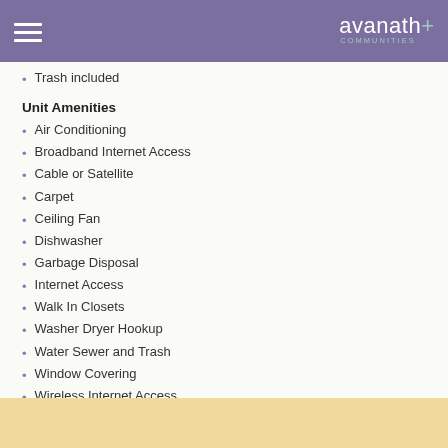avanath+ COMMUNITIES
Trash included
Unit Amenities
Air Conditioning
Broadband Internet Access
Cable or Satellite
Carpet
Ceiling Fan
Dishwasher
Garbage Disposal
Internet Access
Walk In Closets
Washer Dryer Hookup
Water Sewer and Trash
Window Covering
Wireless Internet Access